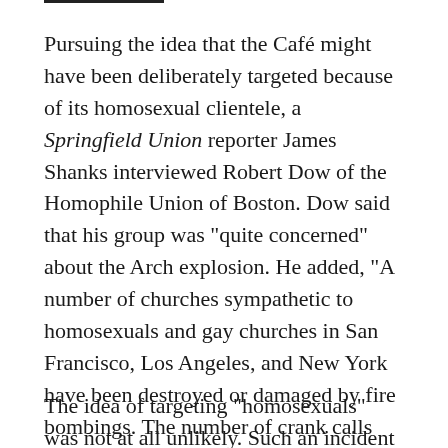Pursuing the idea that the Café might have been deliberately targeted because of its homosexual clientele, a Springfield Union reporter James Shanks interviewed Robert Dow of the Homophile Union of Boston. Dow said that his group was “quite concerned” about the Arch explosion. He added, “A number of churches sympathetic to homosexuals and gay churches in San Francisco, Los Angeles, and New York have been destroyed or damaged by fire bombings. The number of crank calls against gays increased alarmingly in the last month.”
The idea of targeting “homosexuals” was not at all unlikely. Such an incident had been reported